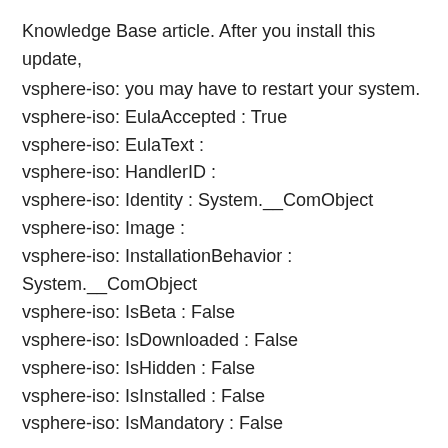Knowledge Base article. After you install this update,
vsphere-iso: you may have to restart your system.
vsphere-iso: EulaAccepted : True
vsphere-iso: EulaText :
vsphere-iso: HandlerID :
vsphere-iso: Identity : System.__ComObject
vsphere-iso: Image :
vsphere-iso: InstallationBehavior : System.__ComObject
vsphere-iso: IsBeta : False
vsphere-iso: IsDownloaded : False
vsphere-iso: IsHidden : False
vsphere-iso: IsInstalled : False
vsphere-iso: IsMandatory : False